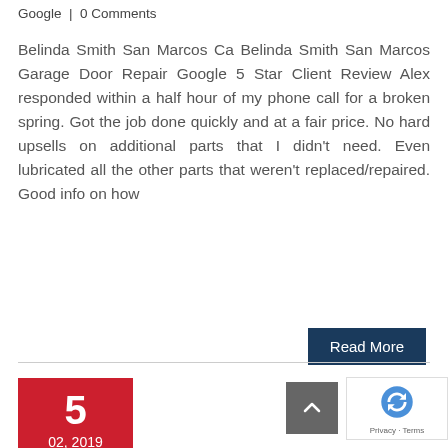Google | 0 Comments
Belinda Smith San Marcos Ca Belinda Smith San Marcos Garage Door Repair Google 5 Star Client Review Alex responded within a half hour of my phone call for a broken spring. Got the job done quickly and at a fair price. No hard upsells on additional parts that I didn't need. Even lubricated all the other parts that weren't replaced/repaired. Good info on how
Read More
5
02, 2019